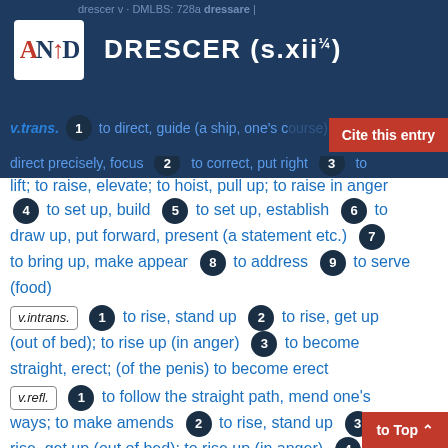drescer v. DMLBS: 728a dressare | DRESCER (s.xii¼)
v.trans. 1 to direct, guide (a ship, one's course); to direct precisely, focus 2 to correct, put right 3 to lift; to raise, elevate; to hoist, pull up; to raise in anger 4 to set up, build 5 to set up, establish 6 to draw up, put forward, present (a statement etc.) 7 to bring up, make appear 8 to address 9 to serve (food)
v.intrans. 1 to rise, stand up 2 to rise, get up (out of bed); to rise up (in anger) 3 to become straight, erect; (of the penis) to become erect
v.refl. 1 to follow the straight path, mend one's ways; to make amends 2 to rise, stand up 3 to rise, get up (out of bed); to rise up (in anger) 4 (of the penis) to become erect 5 to address oneself, apply oneself 6 to make oneself ready 7 to travel, make one's way